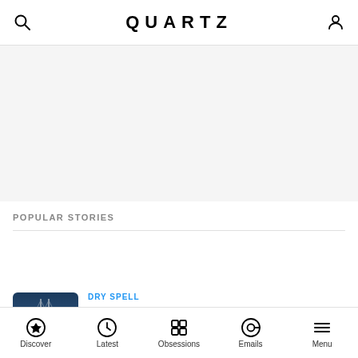QUARTZ
POPULAR STORIES
[Figure (photo): Thumbnail image of a cityscape with a bridge and buildings at dusk/night, blue tones]
DRY SPELL
China's factories are shutting down again
Discover | Latest | Obsessions | Emails | Menu